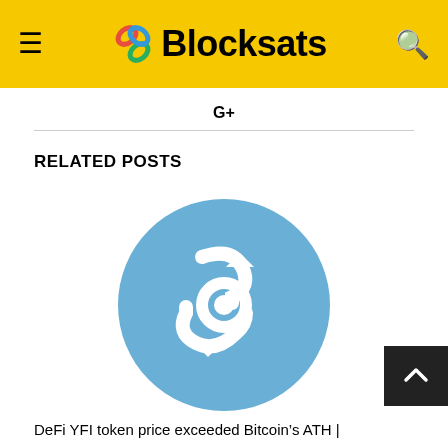Blocksats
G+
RELATED POSTS
[Figure (logo): Blue circular logo with white chain/S symbol representing Blocksats or a DeFi token]
DeFi YFI token price exceeded Bitcoin’s ATH |